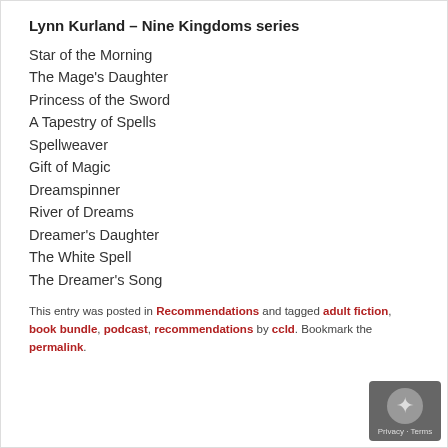Lynn Kurland – Nine Kingdoms series
Star of the Morning
The Mage's Daughter
Princess of the Sword
A Tapestry of Spells
Spellweaver
Gift of Magic
Dreamspinner
River of Dreams
Dreamer's Daughter
The White Spell
The Dreamer's Song
This entry was posted in Recommendations and tagged adult fiction, book bundle, podcast, recommendations by ccld. Bookmark the permalink.